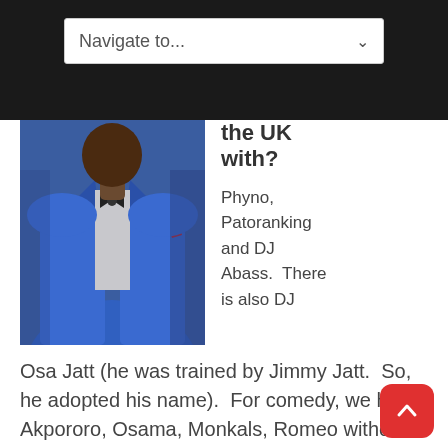Navigate to...
[Figure (photo): A man in a bright blue suit with a black bow tie and red pocket square, photographed from chest level, outdoor setting.]
the UK with?
Phyno, Patoranking and DJ Abass.  There is also DJ Osa Jatt (he was trained by Jimmy Jatt.  So, he adopted his name).  For comedy, we have Akpororo, Osama, Monkals, Romeo without Juliet (a Port Harcourt based comedian), then there is Pencil.  We try to give opportunity to up and